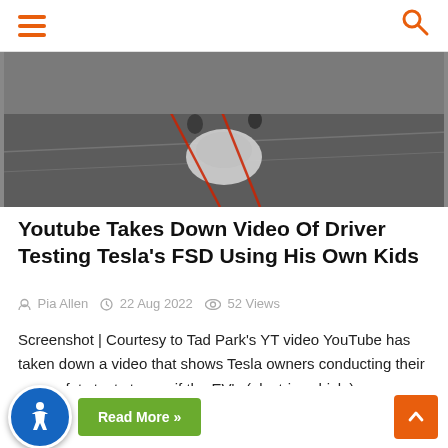Navigation bar with hamburger menu and search icon
[Figure (screenshot): Aerial/overhead view of Tesla vehicle on road, dark toned image showing top of white car with traffic cones or markers visible]
Youtube Takes Down Video Of Driver Testing Tesla's FSD Using His Own Kids
Pia Allen  22 Aug 2022  52 Views
Screenshot | Courtesy to Tad Park's YT video YouTube has taken down a video that shows Tesla owners conducting their own safety tests to see if the EV's (electric vehicle) ...
Read More »